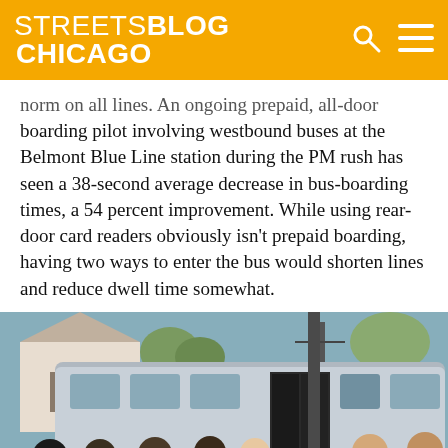STREETSBLOG CHICAGO
norm on all lines. An ongoing prepaid, all-door boarding pilot involving westbound buses at the Belmont Blue Line station during the PM rush has seen a 38-second average decrease in bus-boarding times, a 54 percent improvement. While using rear-door card readers obviously isn't prepaid boarding, having two ways to enter the bus would shorten lines and reduce dwell time somewhat.
[Figure (photo): People boarding a CTA bus through the rear door at a bus stop, with a house and trees visible in the background on a sunny day.]